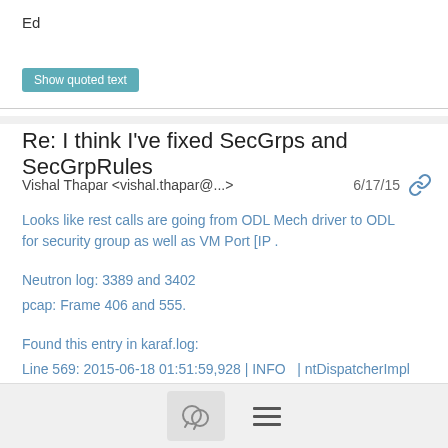Ed
Show quoted text
Re: I think I've fixed SecGrps and SecGrpRules
Vishal Thapar <vishal.thapar@...>   6/17/15
Looks like rest calls are going from ODL Mech driver to ODL for security group as well as VM Port [IP .

Neutron log: 3389 and 3402
pcap: Frame 406 and 555.

Found this entry in karaf.log:
Line 569: 2015-06-18 01:51:59,928 | INFO  | ntDispatcherImpl | OF13Provider                | 272 -